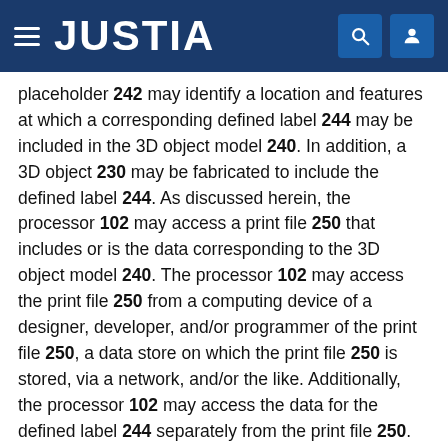JUSTIA
placeholder 242 may identify a location and features at which a corresponding defined label 244 may be included in the 3D object model 240. In addition, a 3D object 230 may be fabricated to include the defined label 244. As discussed herein, the processor 102 may access a print file 250 that includes or is the data corresponding to the 3D object model 240. The processor 102 may access the print file 250 from a computing device of a designer, developer, and/or programmer of the print file 250, a data store on which the print file 250 is stored, via a network, and/or the like. Additionally, the processor 102 may access the data for the defined label 244 separately from the print file 250.
The processor 102 may fetch, decode, and execute the machine-readable instructions 114 to access fabrication information pertaining to the 3D object 230 that is to be